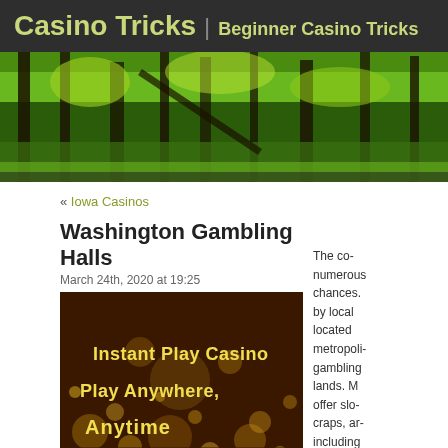Casino Tricks | Beginner Casino Tricks
[Figure (photo): Forest banner image with dense green trees and bright sunlight]
« Iowa Casinos
Washington Gambling Halls
March 24th, 2020 at 19:25
[Figure (photo): Dark golden background with bokeh lights and text: Instant Play Casino Play Anywhere, (partially visible)]
The co- numerous chances. by local located metropoli gambling lands. M offer slo craps, ar including